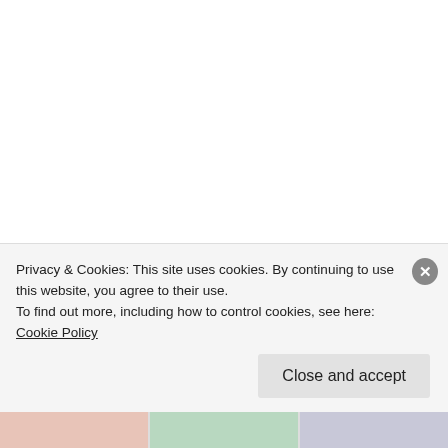Share this:
Twitter
Facebook
Privacy & Cookies: This site uses cookies. By continuing to use this website, you agree to their use.
To find out more, including how to control cookies, see here: Cookie Policy
Close and accept